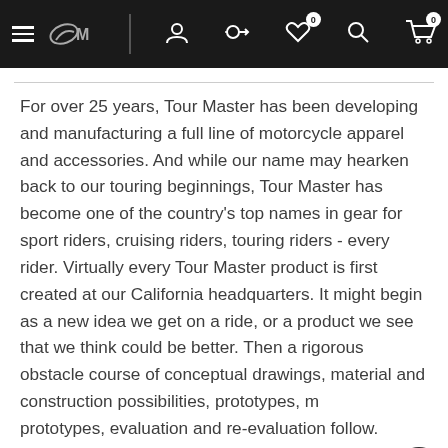Tour Master website navigation bar with hamburger menu, logo, account, compare, wishlist (0), search, and cart (0) icons
For over 25 years, Tour Master has been developing and manufacturing a full line of motorcycle apparel and accessories. And while our name may hearken back to our touring beginnings, Tour Master has become one of the country's top names in gear for sport riders, cruising riders, touring riders - every rider. Virtually every Tour Master product is first created at our California headquarters. It might begin as a new idea we get on a ride, or a product we see that we think could be better. Then a rigorous obstacle course of conceptual drawings, material and construction possibilities, prototypes, more prototypes, evaluation and re-evaluation follow. Candidates are worn, mounted, ridden with, pushed, and